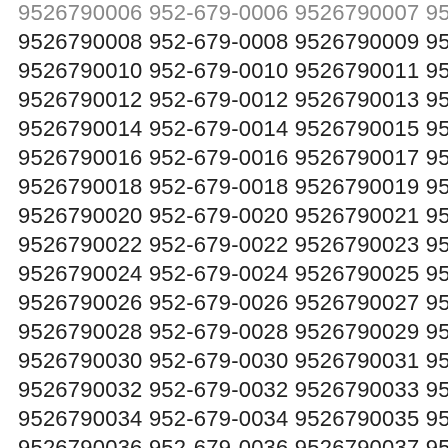9526790006 952-679-0006 9526790007 952-679-0007
9526790008 952-679-0008 9526790009 952-679-0009
9526790010 952-679-0010 9526790011 952-679-0011
9526790012 952-679-0012 9526790013 952-679-0013
9526790014 952-679-0014 9526790015 952-679-0015
9526790016 952-679-0016 9526790017 952-679-0017
9526790018 952-679-0018 9526790019 952-679-0019
9526790020 952-679-0020 9526790021 952-679-0021
9526790022 952-679-0022 9526790023 952-679-0023
9526790024 952-679-0024 9526790025 952-679-0025
9526790026 952-679-0026 9526790027 952-679-0027
9526790028 952-679-0028 9526790029 952-679-0029
9526790030 952-679-0030 9526790031 952-679-0031
9526790032 952-679-0032 9526790033 952-679-0033
9526790034 952-679-0034 9526790035 952-679-0035
9526790036 952-679-0036 9526790037 952-679-0037
9526790038 952-679-0038 9526790039 952-679-0039
9526790040 952-679-0040 9526790041 952-679-0041
9526790042 952-679-0042 9526790043 952-679-0043